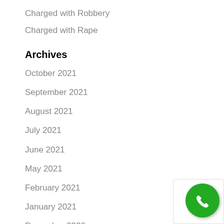Charged with Robbery
Charged with Rape
Archives
October 2021
September 2021
August 2021
July 2021
June 2021
May 2021
February 2021
January 2021
December 2020
November 2020
[Figure (other): Green circular phone/call button widget with white phone icon and 'Terms' label]